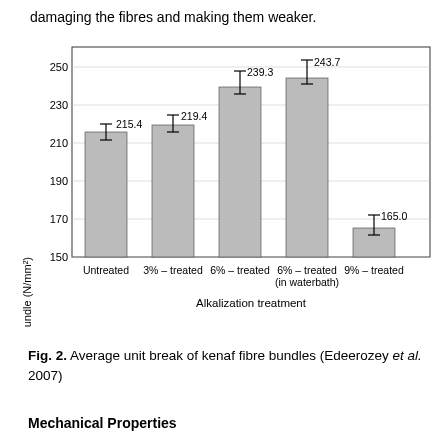damaging the fibres and making them weaker.
[Figure (bar-chart): Unit break of fiber bundle (N/mm²) vs Alkalization treatment]
Fig. 2. Average unit break of kenaf fibre bundles (Edeerozey et al. 2007)
Mechanical Properties